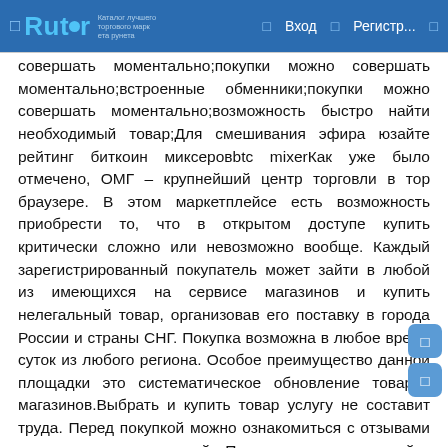Rutor  Вход  Регистр...
совершать моментально;покупки можно совершать моментально;встроенные обменники;покупки можно совершать моментально;возможность быстро найти необходимый товар;Для смешивания эфира юзайте рейтинг биткоин миксеровbtc mixerКак уже было отмечено, ОМГ – крупнейший центр торговли в тор браузере. В этом маркетплейсе есть возможность приобрести то, что в открытом доступе купить критически сложно или невозможно вообще. Каждый зарегистрированный покупатель может зайти в любой из имеющихся на сервисе магазинов и купить нелегальный товар, организовав его поставку в города России и страны СНГ. Покупка возможна в любое время суток из любого региона. Особое преимущество данной площадки это систематическое обновление товаров магазинов.Выбрать и купить товар услугу не составит труда. Перед покупкой можно ознакомиться с отзывами предыдущих покупателей. Поэтому посетитель сайта может заблаговременно оценить качество будущей покупки и решить, нужен ему продукт или